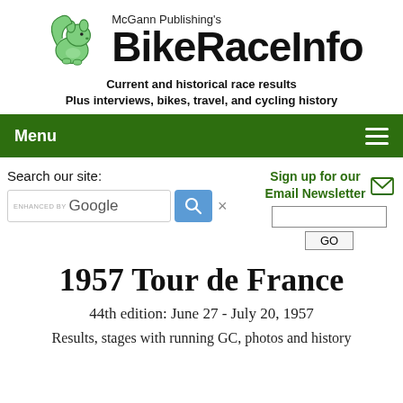[Figure (logo): McGann Publishing's BikeRaceInfo logo with green squirrel mascot and site taglines]
Menu
Search our site:
Sign up for our Email Newsletter
1957 Tour de France
44th edition: June 27 - July 20, 1957
Results, stages with running GC, photos and history